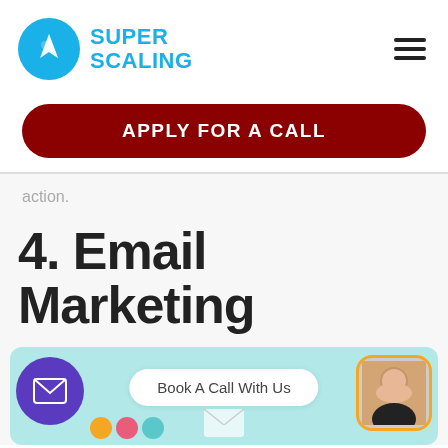[Figure (logo): Super Scaling logo with blue rocket circle and blue text 'SUPER SCALING']
APPLY FOR A CALL
action.
4. Email Marketing
[Figure (illustration): Email marketing illustration with light blue background, purple circle with envelope icon, 'Book A Call With Us' button, and person photo with orange border]